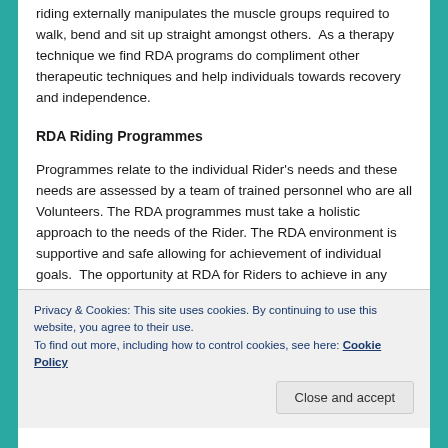riding externally manipulates the muscle groups required to walk, bend and sit up straight amongst others.  As a therapy technique we find RDA programs do compliment other therapeutic techniques and help individuals towards recovery and independence.
RDA Riding Programmes
Programmes relate to the individual Rider's needs and these needs are assessed by a team of trained personnel who are all Volunteers. The RDA programmes must take a holistic approach to the needs of the Rider. The RDA environment is supportive and safe allowing for achievement of individual goals.  The opportunity at RDA for Riders to achieve in any endeavour is often a
Privacy & Cookies: This site uses cookies. By continuing to use this website, you agree to their use.
To find out more, including how to control cookies, see here: Cookie Policy